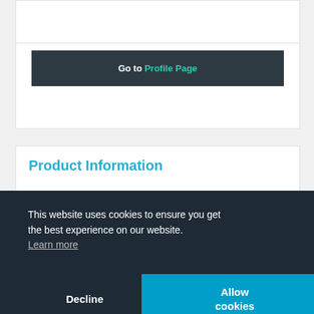Go to Profile Page
Product Information
2021
This website uses cookies to ensure you get the best experience on our website. Learn more
Decline
Allow cookies
Bestsellers